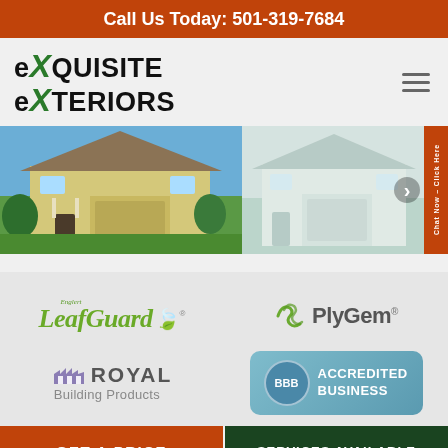Call Us Today: 501-319-7684
[Figure (logo): Exquisite Exteriors company logo with green X letter]
[Figure (photo): Residential house exterior photo slideshow with two house images side by side]
[Figure (logo): Englert LeafGuard gutter protection brand logo]
[Figure (logo): PlyGem building products brand logo]
[Figure (logo): Royal Building Products brand logo]
[Figure (logo): BBB Accredited Business badge]
GET A PRICE
SERVICES AVAILABLE